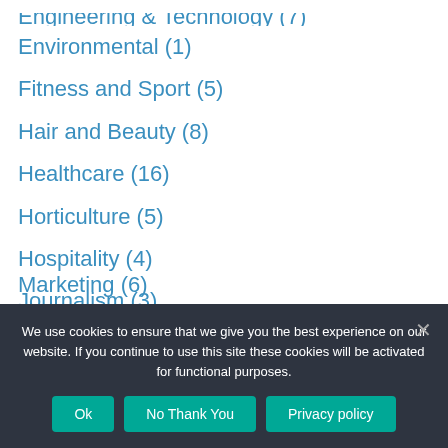Environmental (1)
Fitness and Sport (5)
Hair and Beauty (8)
Healthcare (16)
Horticulture (5)
Hospitality (4)
Journalism (3)
Legal (3)
Marketing (6)
We use cookies to ensure that we give you the best experience on our website. If you continue to use this site these cookies will be activated for functional purposes.
Ok | No Thank You | Privacy policy